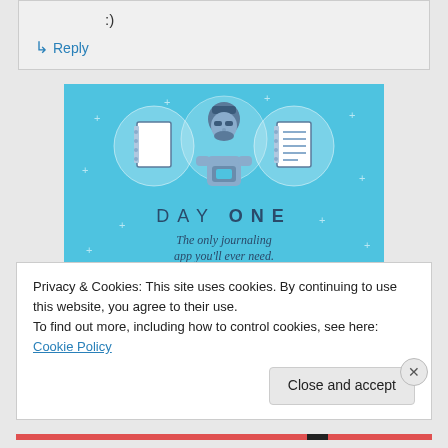:)
↳ Reply
[Figure (illustration): Day One journaling app advertisement on a blue background. Shows a figure holding a phone with two circular icons (blank notebook and lined notebook) flanking the figure. Text reads 'DAY ONE' and 'The only journaling app you'll ever need.']
Privacy & Cookies: This site uses cookies. By continuing to use this website, you agree to their use.
To find out more, including how to control cookies, see here: Cookie Policy
Close and accept